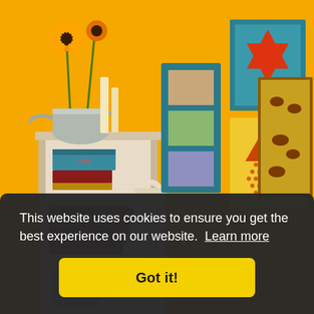[Figure (photo): Interior room scene with a yellow/golden painted wall. A white painted wooden bookshelf holds stacked books, board games, and a framed picture at the bottom. On top of the shelf sits a metal watering can with sunflowers and tall white candles. A white wooden chair is partially visible in the center. On the wall hang several colorful framed pieces of folk art: a teal multi-photo collage frame, a large star-of-David quilt pattern in red and teal, a Chinese checkers board art piece, and a yellow folk art piece with deer/animals.]
This website uses cookies to ensure you get the best experience on our website. Learn more